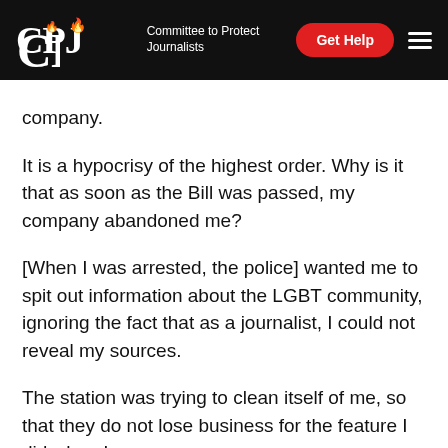CPJ — Committee to Protect Journalists
company.
It is a hypocrisy of the highest order. Why is it that as soon as the Bill was passed, my company abandoned me?
[When I was arrested, the police] wanted me to spit out information about the LGBT community, ignoring the fact that as a journalist, I could not reveal my sources.
The station was trying to clean itself of me, so that they do not lose business for the feature I did when I